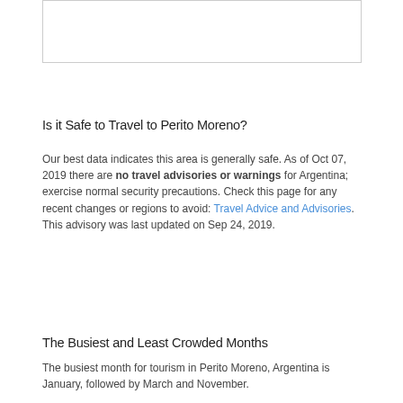[Figure (other): Image placeholder box at top of page]
Is it Safe to Travel to Perito Moreno?
Our best data indicates this area is generally safe. As of Oct 07, 2019 there are no travel advisories or warnings for Argentina; exercise normal security precautions. Check this page for any recent changes or regions to avoid: Travel Advice and Advisories. This advisory was last updated on Sep 24, 2019.
The Busiest and Least Crowded Months
The busiest month for tourism in Perito Moreno, Argentina is January, followed by March and November.